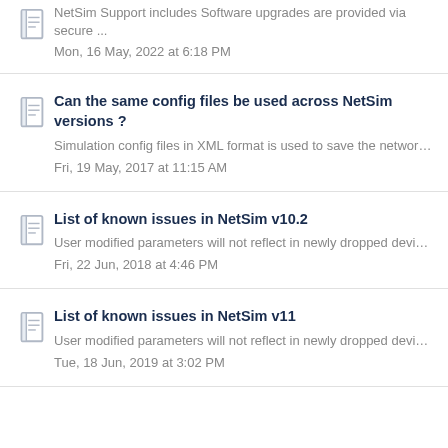NetSim Support includes Software upgrades are provided via secure ...
Mon, 16 May, 2022 at 6:18 PM
Can the same config files be used across NetSim versions ?
Simulation config files in XML format is used to save the network (to...
Fri, 19 May, 2017 at 11:15 AM
List of known issues in NetSim v10.2
User modified parameters will not reflect in newly dropped devices: A...
Fri, 22 Jun, 2018 at 4:46 PM
List of known issues in NetSim v11
User modified parameters will not reflect in newly dropped devices: A...
Tue, 18 Jun, 2019 at 3:02 PM